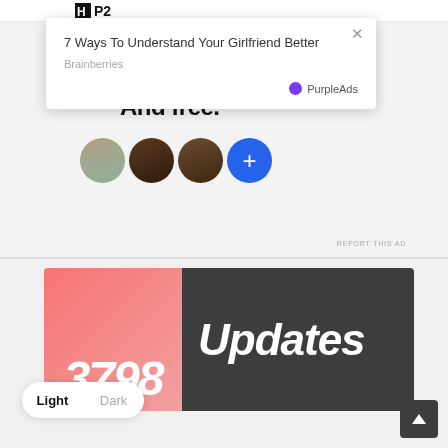[Figure (screenshot): P2 website logo bar at top]
[Figure (screenshot): Ad popup overlay with title '7 Ways To Understand Your Girlfriend Better', source 'Brainberries', and PurpleAds branding with close button]
7 Ways To Understand Your Girlfriend Better
Brainberries
PurpleAds
[Figure (screenshot): Background ad showing 'And free.' text with three user avatars and a blue plus button]
And free.
REPORT THIS AD
[Figure (screenshot): Banner advertisement showing '3798 Updates' with salmon/pink left background and dark right background]
3798
Updates
Light
Dark